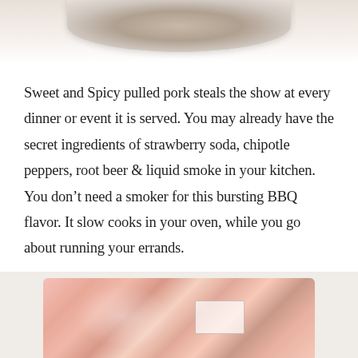[Figure (photo): Top portion of a bowl containing spice rub or seasoning mixture, cropped at the top of the page]
Sweet and Spicy pulled pork steals the show at every dinner or event it is served. You may already have the secret ingredients of strawberry soda, chipotle peppers, root beer & liquid smoke in your kitchen. You don't need a smoker for this bursting BBQ flavor. It slow cooks in your oven, while you go about running your errands.
Preheat the oven to 300 degrees.
[Figure (photo): Raw pork cuts in plastic packaging on a light green surface, partially visible at the bottom of the page]